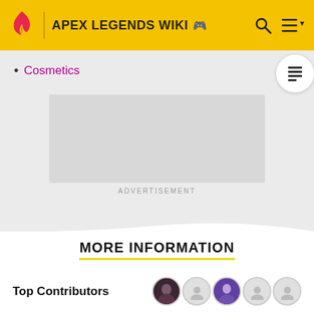APEX LEGENDS WIKI
Cosmetics
[Figure (other): Advertisement placeholder — grey rectangle with ADVERTISEMENT label below]
MORE INFORMATION
Top Contributors
Categories